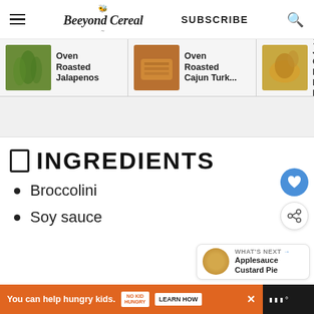Beeyond Cereal | SUBSCRIBE
[Figure (screenshot): Carousel of recipe thumbnails: Oven Roasted Jalapenos, Oven Roasted Cajun Turk..., Juicy Ove Roa... Brine...]
☐ INGREDIENTS
Broccolini
Soy sauce
[Figure (infographic): WHAT'S NEXT → Applesauce Custard Pie thumbnail panel]
[Figure (infographic): Ad banner: You can help hungry kids. NO KID HUNGRY LEARN HOW]